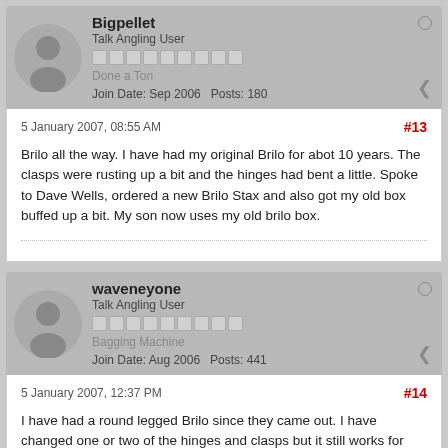Bigpellet
Talk Angling User
Done a Ton
Join Date: Sep 2006  Posts: 180
5 January 2007, 08:55 AM
#13
Brilo all the way. I have had my original Brilo for abot 10 years. The clasps were rusting up a bit and the hinges had bent a little. Spoke to Dave Wells, ordered a new Brilo Stax and also got my old box buffed up a bit. My son now uses my old brilo box.
waveneyone
Talk Angling User
Bagging Machine
Join Date: Aug 2006  Posts: 441
5 January 2007, 12:37 PM
#14
I have had a round legged Brilo since they came out. I have changed one or two of the hinges and clasps but it still works for me.